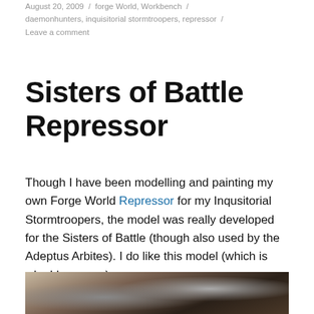August 20, 2009 / forge World, Workbench / daemonhunters, inquisitorial stormtroopers, repressor / Leave a comment
Sisters of Battle Repressor
Though I have been modelling and painting my own Forge World Repressor for my Inqusitorial Stormtroopers, the model was really developed for the Sisters of Battle (though also used by the Adeptus Arbites). I do like this model (which is why I have one).
[Figure (photo): Partial photo of a Sisters of Battle Repressor model, showing dark-colored tank miniature]